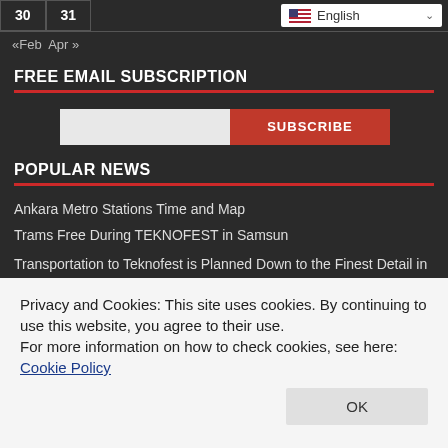| 30 | 31 |  |
| --- | --- | --- |
«Feb  Apr»
FREE EMAIL SUBSCRIPTION
[Figure (other): Email input field and SUBSCRIBE button]
POPULAR NEWS
Ankara Metro Stations Time and Map
Trams Free During TEKNOFEST in Samsun
Macitler Furniture and Modern Furniture Groups
TCDD Communication Line 444 8 233
Privacy and Cookies: This site uses cookies. By continuing to use this website, you agree to their use.
For more information on how to check cookies, see here: Cookie Policy
Transportation to Teknofest is Planned Down to the Finest Detail in